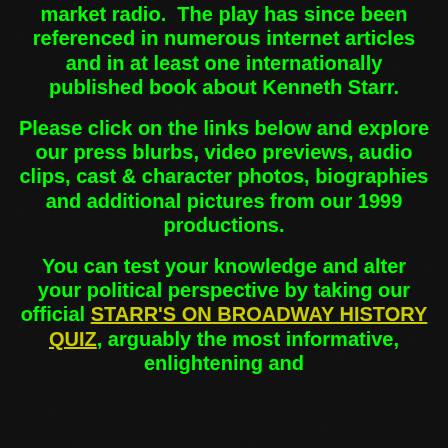market radio.  The play has since been referenced in numerous internet articles and in at least one internationally published book about Kenneth Starr.
Please click on the links below and explore our press blurbs, video previews, audio clips, cast & character photos, biographies and additional pictures from our 1999 productions.
You can test your knowledge and alter your political perspective by taking our official STARR'S ON BROADWAY HISTORY QUIZ, arguably the most informative, enlightening and